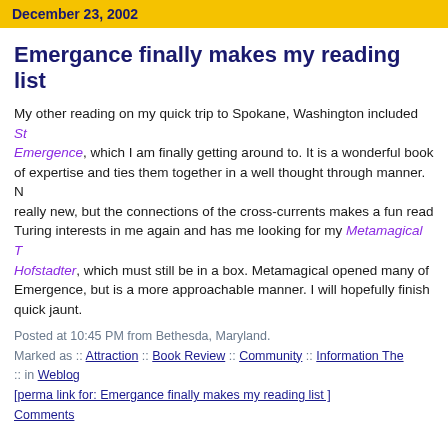December 23, 2002
Emergance finally makes my reading list
My other reading on my quick trip to Spokane, Washington included St Emergence, which I am finally getting around to. It is a wonderful book of expertise and ties them together in a well thought through manner. N really new, but the connections of the cross-currents makes a fun read Turing interests in me again and has me looking for my Metamagical T Hofstadter, which must still be in a box. Metamagical opened many of Emergence, but is a more approachable manner. I will hopefully finish quick jaunt.
Posted at 10:45 PM from Bethesda, Maryland.
Marked as :: Attraction :: Book Review :: Community :: Information The :: in Weblog
[perma link for: Emergance finally makes my reading list ]
Comments
December 11, 2002
Liars want more money to for blank media